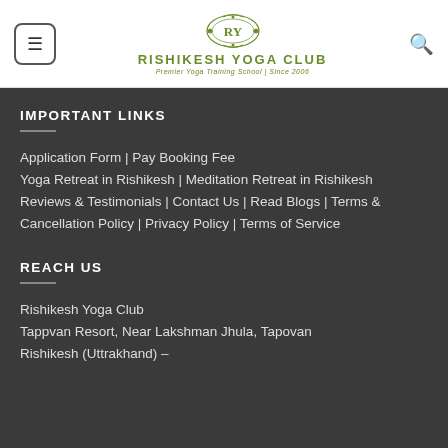[Figure (logo): Rishikesh Yoga Club logo with ornamental emblem, green text reading RISHIKESH YOGA CLUB, subtitle Premier Yoga Training School | Since 2006]
IMPORTANT LINKS
Application Form | Pay Booking Fee
Yoga Retreat in Rishikesh | Meditation Retreat in Rishikesh
Reviews & Testimonials | Contact Us | Read Blogs | Terms & Cancellation Policy | Privacy Policy | Terms of Service
REACH US
Rishikesh Yoga Club
Tappvan Resort, Near Lakshman Jhula, Tapovan
Rishikesh (Uttrakhand) –